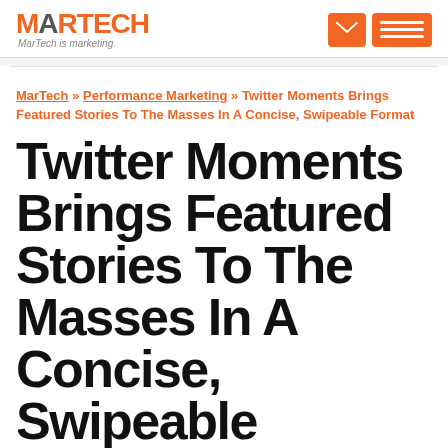MARTECH — MarTech is marketing.
MarTech » Performance Marketing » Twitter Moments Brings Featured Stories To The Masses In A Concise, Swipeable Format
Twitter Moments Brings Featured Stories To The Masses In A Concise, Swipeable Format
Moments are a sleek new way of